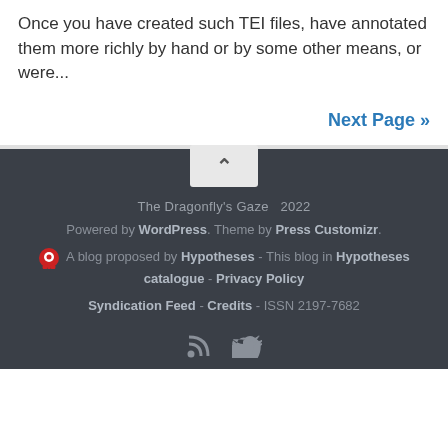Once you have created such TEI files, have annotated them more richly by hand or by some other means, or were...
Next Page »
The Dragonfly's Gaze  2022
Powered by WordPress. Theme by Press Customizr.
A blog proposed by Hypotheses - This blog in Hypotheses catalogue - Privacy Policy
Syndication Feed - Credits - ISSN 2197-7682